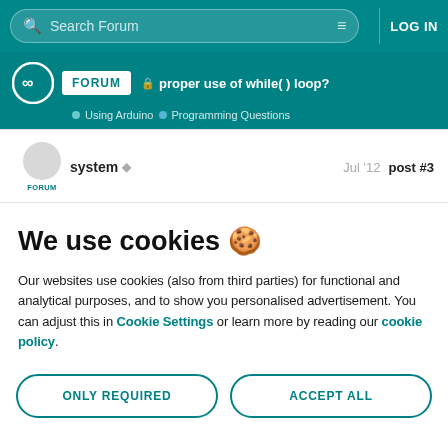Search Forum | LOG IN
proper use of while( ) loop? | Using Arduino > Programming Questions
system  Jul '12  post #3
We use cookies 🍪
Our websites use cookies (also from third parties) for functional and analytical purposes, and to show you personalised advertisement. You can adjust this in Cookie Settings or learn more by reading our cookie policy.
ONLY REQUIRED
ACCEPT ALL